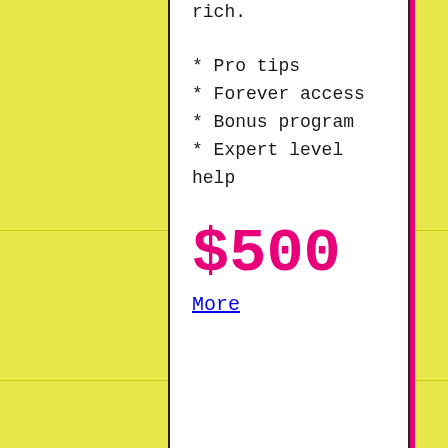rich.
* Pro tips
* Forever access
* Bonus program
* Expert level help
$500
More